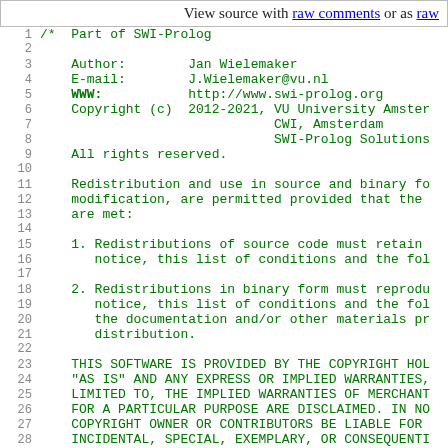View source with raw comments or as raw
/*  Part of SWI-Prolog

    Author:        Jan Wielemaker
    E-mail:        J.Wielemaker@vu.nl
    WWW:           http://www.swi-prolog.org
    Copyright (c)  2012-2021, VU University Amster
                              CWI, Amsterdam
                              SWI-Prolog Solutions

    All rights reserved.

    Redistribution and use in source and binary fo
    modification, are permitted provided that the
    are met:

    1. Redistributions of source code must retain 
       notice, this list of conditions and the fol

    2. Redistributions in binary form must reprodu
       notice, this list of conditions and the fol
       the documentation and/or other materials pr
       distribution.

    THIS SOFTWARE IS PROVIDED BY THE COPYRIGHT HOL
    "AS IS" AND ANY EXPRESS OR IMPLIED WARRANTIES,
    LIMITED TO, THE IMPLIED WARRANTIES OF MERCHANT
    FOR A PARTICULAR PURPOSE ARE DISCLAIMED. IN NO
    COPYRIGHT OWNER OR CONTRIBUTORS BE LIABLE FOR 
    INCIDENTAL, SPECIAL, EXEMPLARY, OR CONSEQUENTI